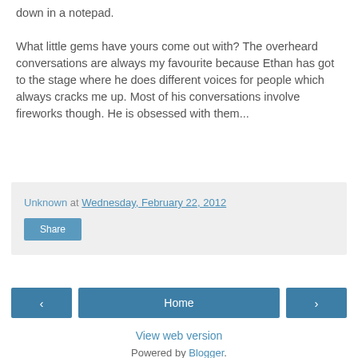down in a notepad.

What little gems have yours come out with? The overheard conversations are always my favourite because Ethan has got to the stage where he does different voices for people which always cracks me up. Most of his conversations involve fireworks though. He is obsessed with them...
Unknown at Wednesday, February 22, 2012
Share
Home
View web version
Powered by Blogger.